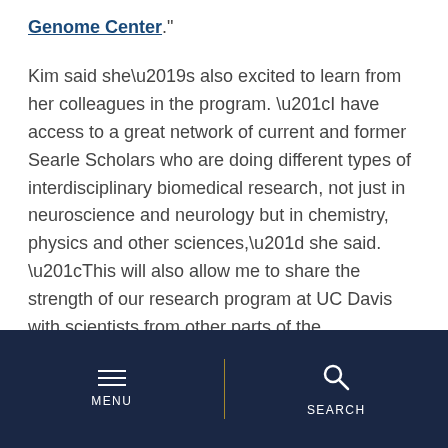Genome Center."
Kim said she’s also excited to learn from her colleagues in the program. “I have access to a great network of current and former Searle Scholars who are doing different types of interdisciplinary biomedical research, not just in neuroscience and neurology but in chemistry, physics and other sciences,” she said. “This will also allow me to share the strength of our research program at UC Davis with scientists from other parts of the country.”
Explore related topics
AWARDS AND HONORS
MEDIA CONTACT
MENU | SEARCH